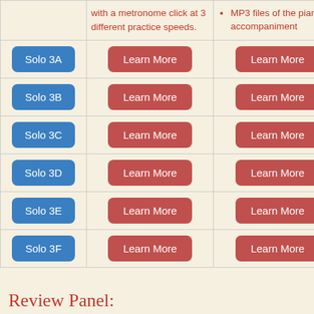|  | Column2 | Column3 |
| --- | --- | --- |
|  | with a metronome click at 3 different practice speeds. | MP3 files of the piano accompaniment |
| Solo 3A | Learn More | Learn More |
| Solo 3B | Learn More | Learn More |
| Solo 3C | Learn More | Learn More |
| Solo 3D | Learn More | Learn More |
| Solo 3E | Learn More | Learn More |
| Solo 3F | Learn More | Learn More |
Review Panel: